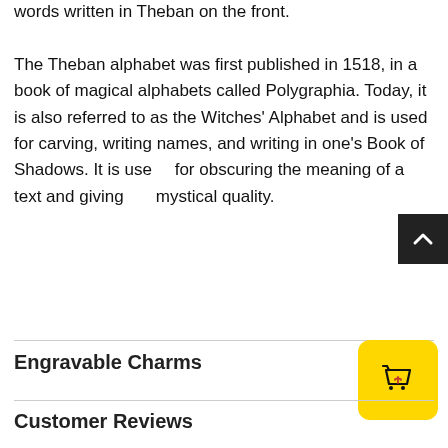words written in Theban on the front.
The Theban alphabet was first published in 1518, in a book of magical alphabets called Polygraphia. Today, it is also referred to as the Witches' Alphabet and is used for carving, writing names, and writing in one's Book of Shadows. It is useful for obscuring the meaning of a text and giving it a mystical quality.
Engravable Charms
Customer Reviews